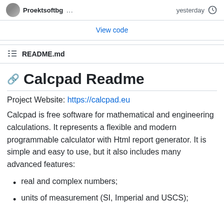Proektsoftbg ... yesterday
View code
README.md
Calcpad Readme
Project Website: https://calcpad.eu
Calcpad is free software for mathematical and engineering calculations. It represents a flexible and modern programmable calculator with Html report generator. It is simple and easy to use, but it also includes many advanced features:
real and complex numbers;
units of measurement (SI, Imperial and USCS);